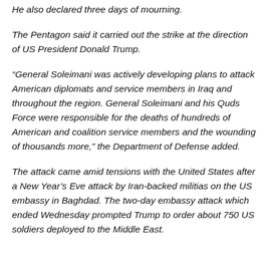He also declared three days of mourning.
The Pentagon said it carried out the strike at the direction of US President Donald Trump.
“General Soleimani was actively developing plans to attack American diplomats and service members in Iraq and throughout the region. General Soleimani and his Quds Force were responsible for the deaths of hundreds of American and coalition service members and the wounding of thousands more,” the Department of Defense added.
The attack came amid tensions with the United States after a New Year’s Eve attack by Iran-backed militias on the US embassy in Baghdad. The two-day embassy attack which ended Wednesday prompted Trump to order about 750 US soldiers deployed to the Middle East.